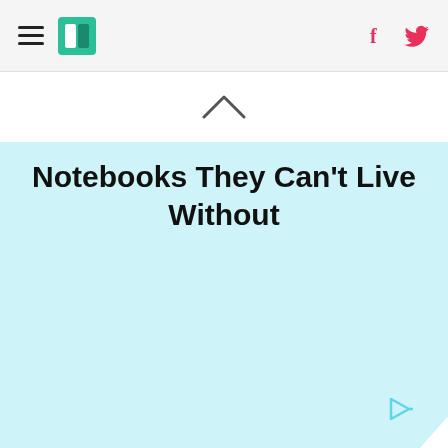HuffPost navigation with hamburger menu, logo, Facebook and Twitter icons
[Figure (illustration): Light blue triangle / chevron geometric background shape filling the lower portion of the page]
Notebooks They Can't Live Without